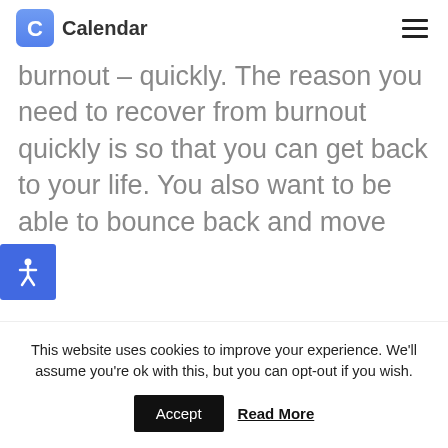Calendar
burnout – quickly. The reason you need to recover from burnout quickly is so that you can get back to your life. You also want to be able to bounce back and move [...]
[Figure (other): Accessibility icon button with person figure in white on blue square background]
This website uses cookies to improve your experience. We'll assume you're ok with this, but you can opt-out if you wish.
Accept  Read More